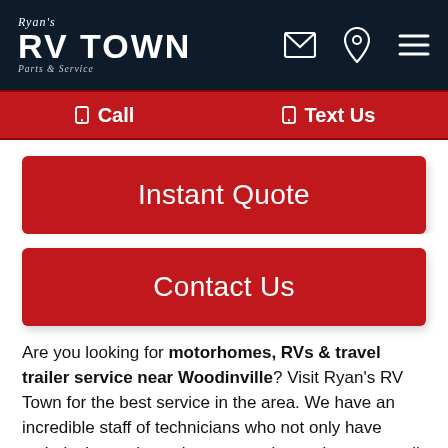Ryan's RV Town Parts & Service — navigation bar with email, location, menu icons
☎ Call    ☎ Text Us
[Figure (screenshot): Red button labeled Instant Quote]
[Figure (screenshot): Red button labeled Contact Us]
Are you looking for motorhomes, RVs & travel trailer service near Woodinville? Visit Ryan's RV Town for the best service in the area. We have an incredible staff of technicians who not only have technical experience but personal experience as well. Our team knows what it takes to get your RV back on the road, no matter how extensive the damage may be. At Ryan's RV Town, we always make sure you make an informed decision. We break things down for you and